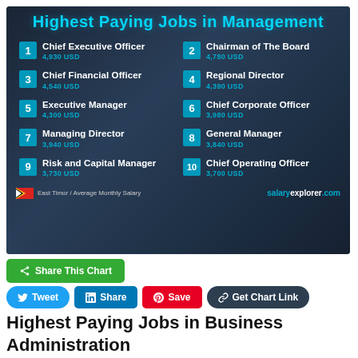[Figure (infographic): Ranked list of top 10 highest paying jobs in Management in East Timor by average monthly salary. 1. Chief Executive Officer 4,930 USD, 2. Chairman of The Board 4,780 USD, 3. Chief Financial Officer 4,540 USD, 4. Regional Director 4,390 USD, 5. Executive Manager 4,300 USD, 6. Chief Corporate Officer 3,980 USD, 7. Managing Director 3,940 USD, 8. General Manager 3,840 USD, 9. Risk and Capital Manager 3,730 USD, 10. Chief Operating Officer 3,700 USD. Source: salaryexplorer.com, East Timor / Average Monthly Salary.]
Share This Chart
Tweet
Share
Save
Get Chart Link
Highest Paying Jobs in Business Administration